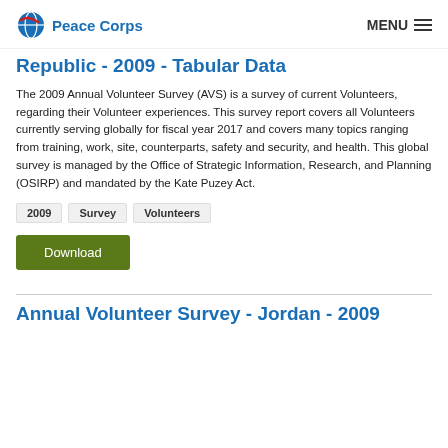Peace Corps | MENU
Republic - 2009 - Tabular Data
The 2009 Annual Volunteer Survey (AVS) is a survey of current Volunteers, regarding their Volunteer experiences. This survey report covers all Volunteers currently serving globally for fiscal year 2017 and covers many topics ranging from training, work, site, counterparts, safety and security, and health. This global survey is managed by the Office of Strategic Information, Research, and Planning (OSIRP) and mandated by the Kate Puzey Act.
2009
Survey
Volunteers
Download
Annual Volunteer Survey - Jordan - 2009